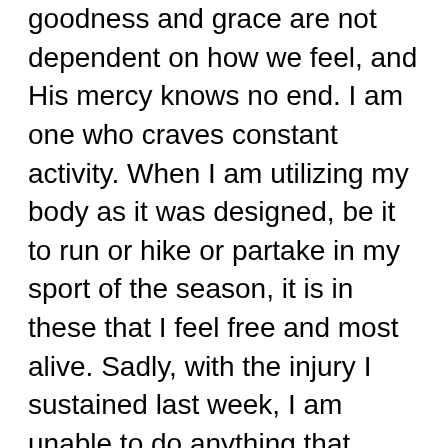goodness and grace are not dependent on how we feel, and His mercy knows no end. I am one who craves constant activity. When I am utilizing my body as it was designed, be it to run or hike or partake in my sport of the season, it is in these that I feel free and most alive. Sadly, with the injury I sustained last week, I am unable to do anything that requires weight-bearing on my leg with the fracture and am at a loss for what to do to truly move as my body craves to move. Incredibly, His mercy has been my comfort, and so far, my heart has held hope that the healing process for a fracture is far shorter than that of a more severe sort of injury. This morning I will see the orthopedist and know more about the